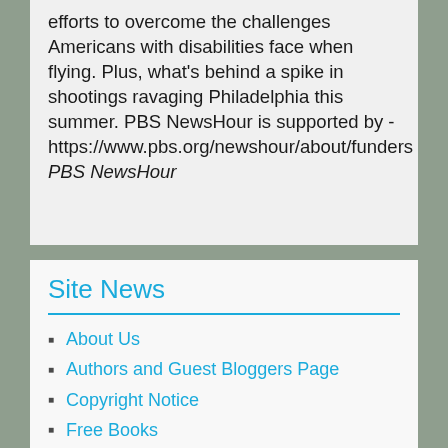efforts to overcome the challenges Americans with disabilities face when flying. Plus, what's behind a spike in shootings ravaging Philadelphia this summer. PBS NewsHour is supported by - https://www.pbs.org/newshour/about/funders PBS NewsHour
Site News
About Us
Authors and Guest Bloggers Page
Copyright Notice
Free Books
Privacy – comment Policy
The Deadly Virus Page
The Mueller Report Page